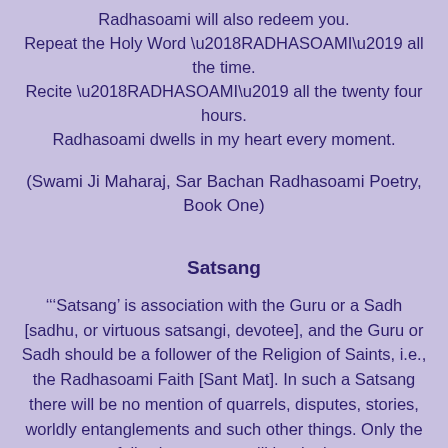Radhasoami will also redeem you.
Repeat the Holy Word ‘RADHASOAMI’ all the time.
Recite ‘RADHASOAMI’ all the twenty four hours.
Radhasoami dwells in my heart every moment.
(Swami Ji Maharaj, Sar Bachan Radhasoami Poetry, Book One)
Satsang
‘‘‘Satsang’ is association with the Guru or a Sadh [sadhu, or virtuous satsangi, devotee], and the Guru or Sadh should be a follower of the Religion of Saints, i.e., the Radhasoami Faith [Sant Mat]. In such a Satsang there will be no mention of quarrels, disputes, stories, worldly entanglements and such other things. Only the following matters will be dealt